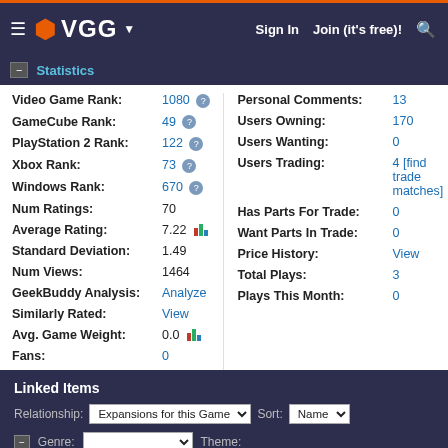VGG — Sign In  Join (it's free)!
Statistics
| Label | Value |
| --- | --- |
| Video Game Rank: | 1080 |
| GameCube Rank: | 49 |
| PlayStation 2 Rank: | 122 |
| Xbox Rank: | 73 |
| Windows Rank: | 670 |
| Num Ratings: | 70 |
| Average Rating: | 7.22 |
| Standard Deviation: | 1.49 |
| Num Views: | 1464 |
| GeekBuddy Analysis: | Analyze |
| Similarly Rated: | View |
| Avg. Game Weight: | 0.0 |
| Fans: | 0 |
| Personal Comments: | 13 |
| Users Owning: | 170 |
| Users Wanting: | 0 |
| Users Trading: | 4 [find trade matches] |
| Has Parts For Trade: | 0 |
| Want Parts In Trade: | 0 |
| Price History: | View |
| Total Plays: | 3 |
| Plays This Month: | 0 |
Linked Items
Relationship: Expansions for this Game  Sort: Name
Genre:   Theme: